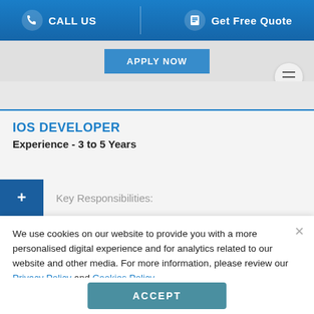CALL US | Get Free Quote
IOS DEVELOPER
Experience - 3 to 5 Years
+ Key Responsibilities:
We use cookies on our website to provide you with a more personalised digital experience and for analytics related to our website and other media. For more information, please review our Privacy Policy and Cookies Policy.
ACCEPT